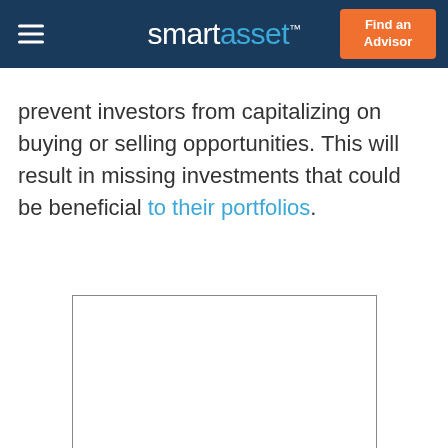smartasset™  Find an Advisor
prevent investors from capitalizing on buying or selling opportunities. This will result in missing investments that could be beneficial to their portfolios.
[Figure (other): Empty white rectangular advertisement placeholder box with a thin border]